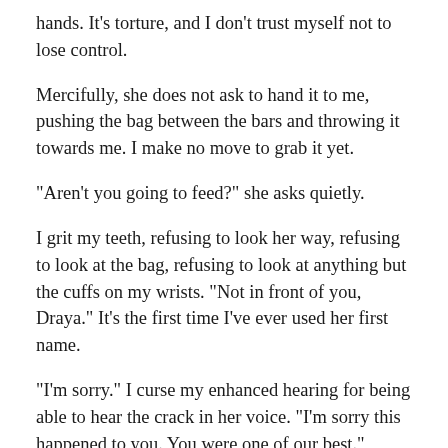hands. It's torture, and I don't trust myself not to lose control.
Mercifully, she does not ask to hand it to me, pushing the bag between the bars and throwing it towards me. I make no move to grab it yet.
“Aren’t you going to feed?” she asks quietly.
I grit my teeth, refusing to look her way, refusing to look at the bag, refusing to look at anything but the cuffs on my wrists. “Not in front of you, Draya.” It’s the first time I’ve ever used her first name.
“I’m sorry.” I curse my enhanced hearing for being able to hear the crack in her voice. “I’m sorry this happened to you. You were one of our best.”